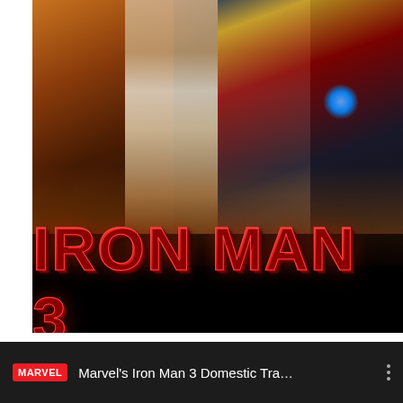[Figure (photo): Iron Man 3 movie poster showing three characters: War Machine (left) in red and gold armor, a woman in white (center), and Iron Man (right) in damaged armor with blue glow. Large 'IRON MAN 3' title text at the bottom in red metallic lettering on a black background.]
MARVEL   Marvel's Iron Man 3 Domestic Tra…  ⋮